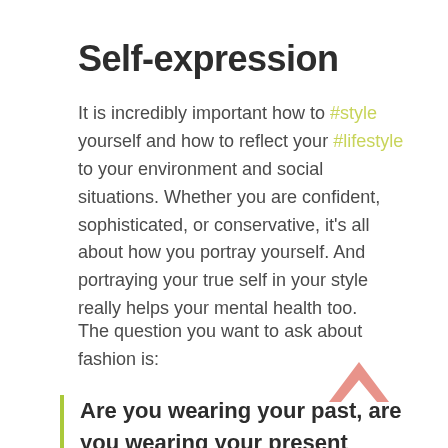Self-expression
It is incredibly important how to #style yourself and how to reflect your #lifestyle to your environment and social situations. Whether you are confident, sophisticated, or conservative, it's all about how you portray yourself. And portraying your true self in your style really helps your mental health too.
The question you want to ask about fashion is:
[Figure (illustration): A salmon/pink colored upward-pointing chevron arrow icon]
Are you wearing your past, are you wearing your present